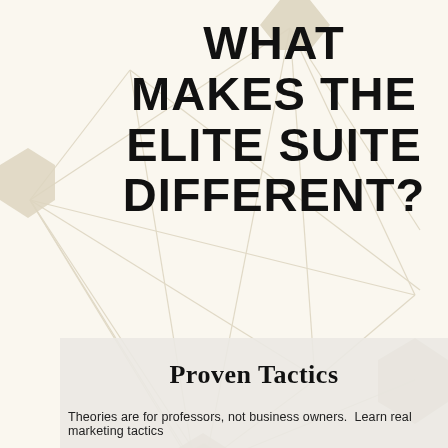[Figure (illustration): Abstract network/connection diagram with hexagonal nodes connected by lines on a warm off-white background. Nodes are beige/tan hexagons of varying sizes positioned around the image.]
WHAT MAKES THE ELITE SUITE DIFFERENT?
Proven Tactics
Theories are for professors, not business owners.  Learn real marketing tactics